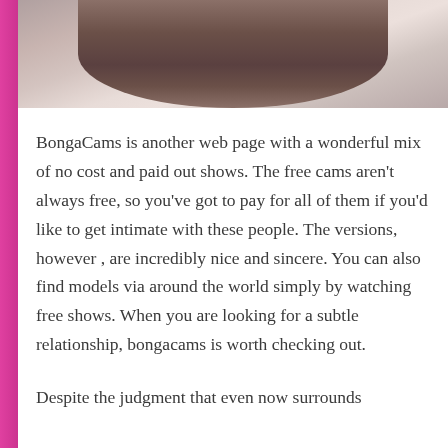[Figure (photo): Close-up photo of a person's body/hands against white fabric, partially visible at the top of the page]
BongaCams is another web page with a wonderful mix of no cost and paid out shows. The free cams aren't always free, so you've got to pay for all of them if you'd like to get intimate with these people. The versions, however , are incredibly nice and sincere. You can also find models via around the world simply by watching free shows. When you are looking for a subtle relationship, bongacams is worth checking out.
Despite the judgment that even now surrounds